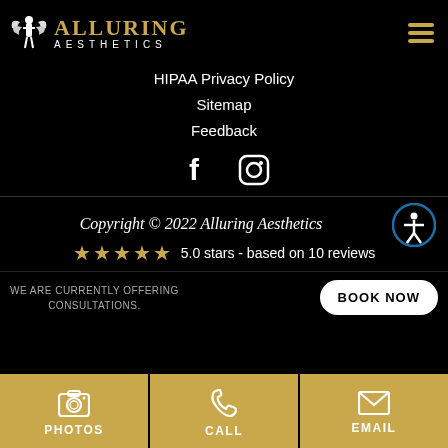[Figure (logo): Alluring Aesthetics logo with white winged figure and gold ALLURING text, AESTHETICS in white below]
HIPAA Privacy Policy
Sitemap
Feedback
[Figure (infographic): Facebook and Instagram social media icons in white]
Copyright © 2022 Alluring Aesthetics
★★★★★ 5.0 stars - based on 10 reviews
WE ARE CURRENTLY OFFERING CONSULTATIONS.
BOOK NOW
[Figure (infographic): Three gold buttons at bottom: PHOTOS (camera icon), CALL (phone icon), EMAIL (envelope icon)]